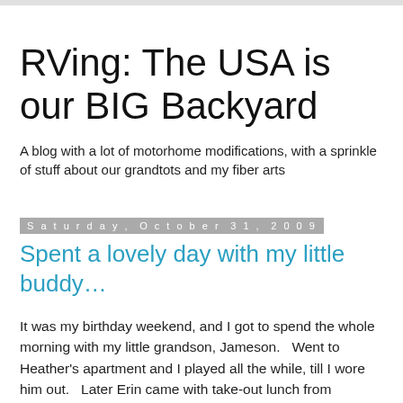RVing: The USA is our BIG Backyard
A blog with a lot of motorhome modifications, with a sprinkle of stuff about our grandtots and my fiber arts
Saturday, October 31, 2009
Spent a lovely day with my little buddy…
It was my birthday weekend, and I got to spend the whole morning with my little grandson, Jameson.   Went to Heather's apartment and I played all the while, till I wore him out.   Later Erin came with take-out lunch from Fazolis!!! Heather had Jesse pick me up the cutest birthday cake